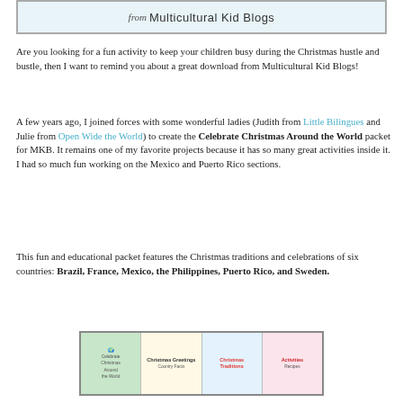[Figure (illustration): Banner header reading 'from Multicultural Kid Blogs' with a light blue background and border]
Are you looking for a fun activity to keep your children busy during the Christmas hustle and bustle, then I want to remind you about a great download from Multicultural Kid Blogs!
A few years ago, I joined forces with some wonderful ladies (Judith from Little Bilingues and Julie from Open Wide the World) to create the Celebrate Christmas Around the World packet for MKB. It remains one of my favorite projects because it has so many great activities inside it. I had so much fun working on the Mexico and Puerto Rico sections.
This fun and educational packet features the Christmas traditions and celebrations of six countries: Brazil, France, Mexico, the Philippines, Puerto Rico, and Sweden.
[Figure (illustration): Four-panel image showing cover and interior pages of the Celebrate Christmas Around the World packet, including Christmas Greetings, Country Facts, Christmas Traditions, and Recipes sections]